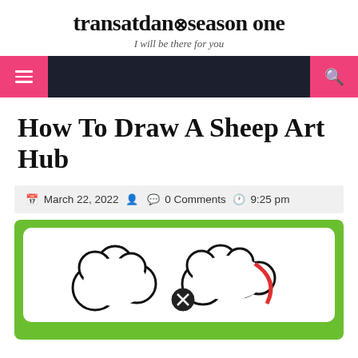transatdan✕season one
I will be there for you
[Figure (screenshot): Navigation bar with dark background, pink hamburger menu button on left and pink search button on right]
How To Draw A Sheep Art Hub
March 22, 2022   0 Comments   9:25 pm
[Figure (illustration): Drawing of a sheep with fluffy body made of cloud-like bumps, with a circle-X symbol, on a green bordered background]